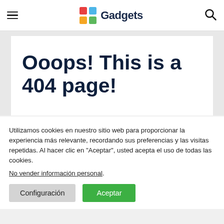Gadgets
Ooops! This is a 404 page!
Utilizamos cookies en nuestro sitio web para proporcionar la experiencia más relevante, recordando sus preferencias y las visitas repetidas. Al hacer clic en "Aceptar", usted acepta el uso de todas las cookies.
No vender información personal.
Configuración  Aceptar